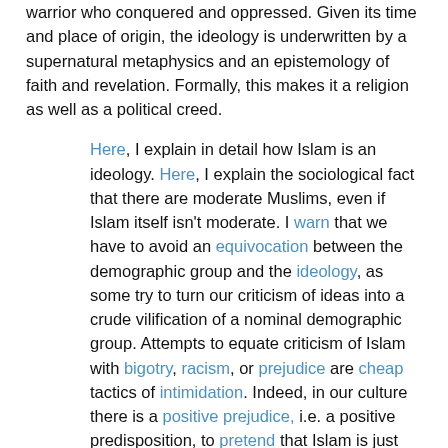warrior who conquered and oppressed. Given its time and place of origin, the ideology is underwritten by a supernatural metaphysics and an epistemology of faith and revelation. Formally, this makes it a religion as well as a political creed.
Here, I explain in detail how Islam is an ideology. Here, I explain the sociological fact that there are moderate Muslims, even if Islam itself isn't moderate. I warn that we have to avoid an equivocation between the demographic group and the ideology, as some try to turn our criticism of ideas into a crude vilification of a nominal demographic group. Attempts to equate criticism of Islam with bigotry, racism, or prejudice are cheap tactics of intimidation. Indeed, in our culture there is a positive prejudice, i.e. a positive predisposition, to pretend that Islam is just another religion.
The ideology of Islam is understood by the texts (the Koran, Hadith, and Sira), which are either by Mohammad or about